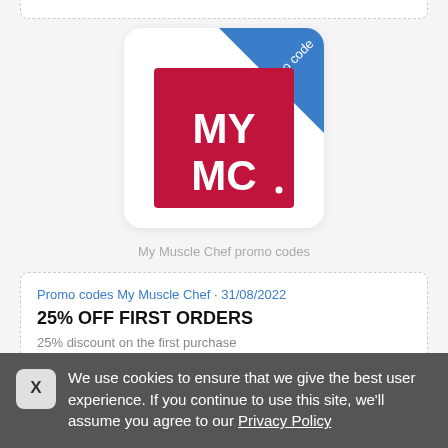[Figure (logo): My Muscle Chef logo card: red square with white bold text MY MC, with a blue diagonal ribbon in the top-right corner labeled 'Promo code']
My Muscle Chef promo codes
Promo codes My Muscle Chef · 31/08/2022
25% OFF FIRST ORDERS
25% discount on the first purchase
We use cookies to ensure that we give the best user experience. If you continue to use this site, we'll assume you agree to our Privacy Policy